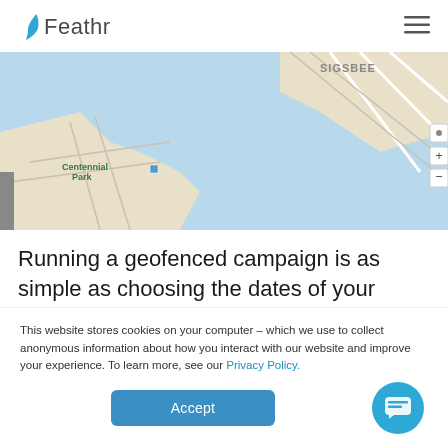Feathr
[Figure (map): Street map showing Centennial Park area near a waterway, with streets and water visible. SIGSBEE label visible top right. Map controls (zoom in/out) on right side.]
Running a geofenced campaign is as simple as choosing the dates of your campaign, the address you want to target, and which
This website stores cookies on your computer – which we use to collect anonymous information about how you interact with our website and improve your experience. To learn more, see our Privacy Policy.
Accept